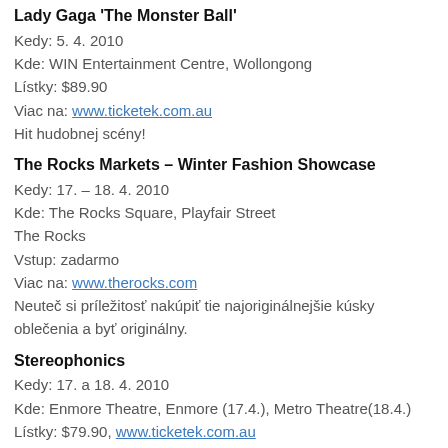Lady Gaga 'The Monster Ball'
Kedy: 5. 4. 2010
Kde: WIN Entertainment Centre, Wollongong
Lístky: $89.90
Viac na: www.ticketek.com.au
Hit hudobnej scény!
The Rocks Markets – Winter Fashion Showcase
Kedy: 17. – 18. 4. 2010
Kde: The Rocks Square, Playfair Street
The Rocks
Vstup: zadarmo
Viac na: www.therocks.com
Neuteč si príležitosť nakúpiť tie najoriginálnejšie kúsky oblečenia a byť originálny.
Stereophonics
Kedy: 17. a 18. 4. 2010
Kde: Enmore Theatre, Enmore (17.4.), Metro Theatre(18.4.)
Lístky: $79.90, www.ticketek.com.au
Viac na: www.ticketek.com.au
Koncert jedinečných chalanov zo Stereophonics.
The Beer Diva Show at the Sydney Opera House